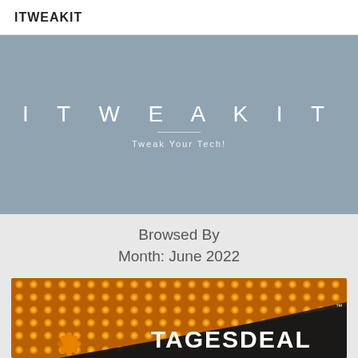ITWEAKIT
[Figure (logo): ITWEAKIT hero banner with grey-blue background, large spaced white text 'ITWEAKIT', a short white horizontal rule, and italic white tagline 'Tweak Your Tech!']
Browsed By Month: June 2022
[Figure (photo): Partial view of a Tagesdeal logo/image with orange illuminated dot-matrix background and white bold text reading 'TAGESDEAL' on a dark banner, with an orange puzzle piece icon at lower left.]